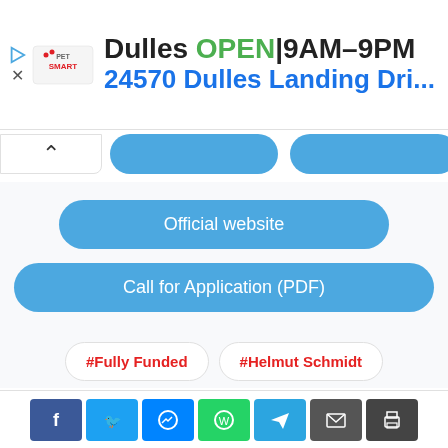[Figure (screenshot): PetSmart advertisement banner showing Dulles store OPEN 9AM-9PM with address 24570 Dulles Landing Dri... and navigation arrow icon]
Official website
Call for Application (PDF)
#Fully Funded
#Helmut Schmidt
#master
[Figure (screenshot): Social media sharing bar at bottom with Facebook, Twitter, Messenger, WhatsApp, Telegram, Email, and Print icons]